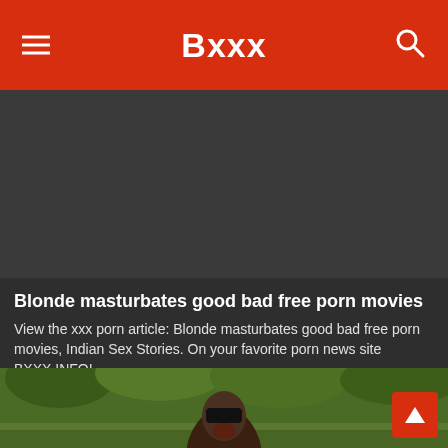Bxxx
Blonde masturbates good bad free porn movies
View the xxx porn article: Blonde masturbates good bad free porn movies, Indian Sex Stories. On your favorite porn news site BXXX.INFO!
0 Views · Likes 0
[Figure (photo): Person wearing a black mask outdoors with green trees in background]